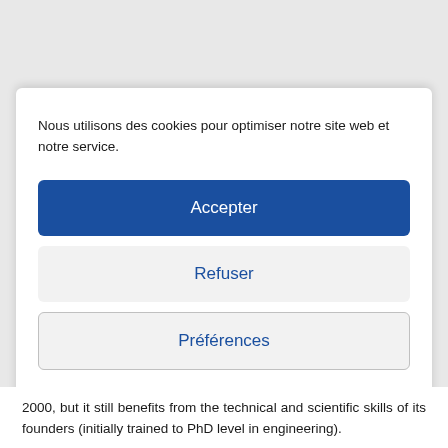Nous utilisons des cookies pour optimiser notre site web et notre service.
Accepter
Refuser
Préférences
Cookie Policy   Privacy Statement
2000, but it still benefits from the technical and scientific skills of its founders (initially trained to PhD level in engineering).